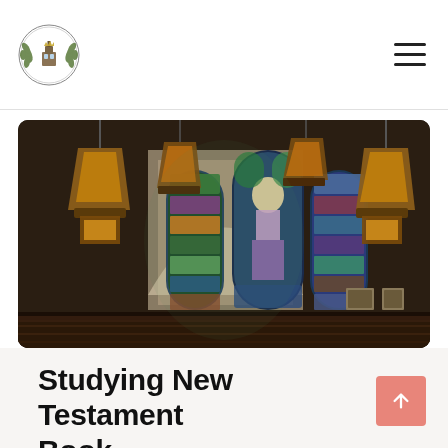[Figure (logo): Circular emblem/crest logo of an educational or religious institution with wreath and crown]
[Figure (photo): Interior of a church with three tall stained glass windows depicting religious figures, ornate hanging lantern chandeliers, dark wood pews in the foreground, and cream/tan walls]
Studying New Testament Book